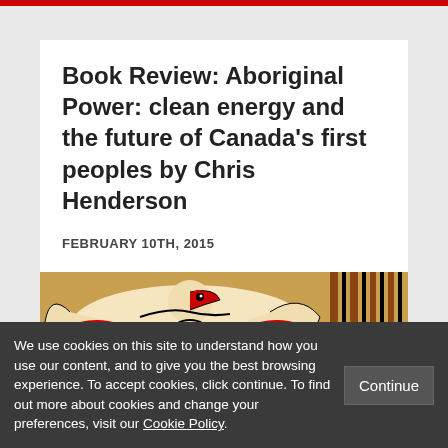Book Review: Aboriginal Power: clean energy and the future of Canada's first peoples by Chris Henderson
FEBRUARY 10TH, 2015
[Figure (photo): Indigenous art showing carved/painted eagle or bird design in traditional Northwest Coast style with red, black, and cream colors. A red badge labeled 'Higher Ed' appears in the bottom-right corner.]
We use cookies on this site to understand how you use our content, and to give you the best browsing experience. To accept cookies, click continue. To find out more about cookies and change your preferences, visit our Cookie Policy.